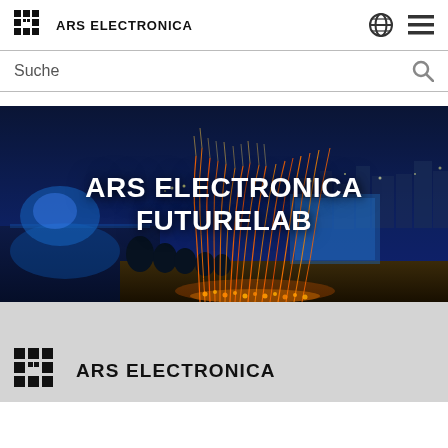ARS ELECTRONICA
Suche
[Figure (photo): Night-time aerial photo of a city with colorful light trails arching upward over a waterfront, with text overlay reading ARS ELECTRONICA FUTURELAB]
[Figure (logo): Ars Electronica logo with stylized square icon and text ARS ELECTRONICA at bottom of page]